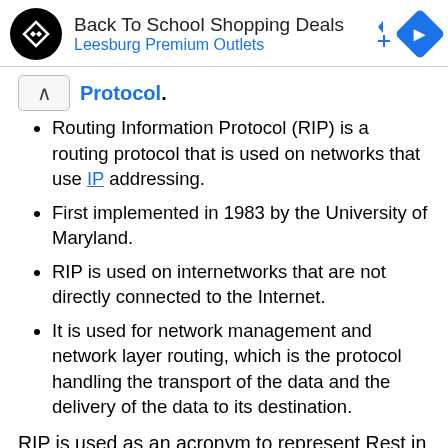[Figure (screenshot): Advertisement banner for Back To School Shopping Deals at Leesburg Premium Outlets with logo and navigation arrow icon]
Protocol.
Routing Information Protocol (RIP) is a routing protocol that is used on networks that use IP addressing.
First implemented in 1983 by the University of Maryland.
RIP is used on internetworks that are not directly connected to the Internet.
It is used for network management and network layer routing, which is the protocol handling the transport of the data and the delivery of the data to its destination.
RIP is used as an acronym to represent Rest in